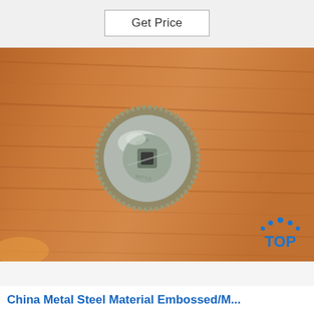Get Price
[Figure (photo): A metal bottle cap viewed from the bottom/inside, showing a silver metallic cap with crimped edges and an embossed design in the center, placed on a wooden surface.]
[Figure (logo): TOP logo with blue dot arc pattern and blue text 'TOP']
China Metal Steel Material Embossed/M...